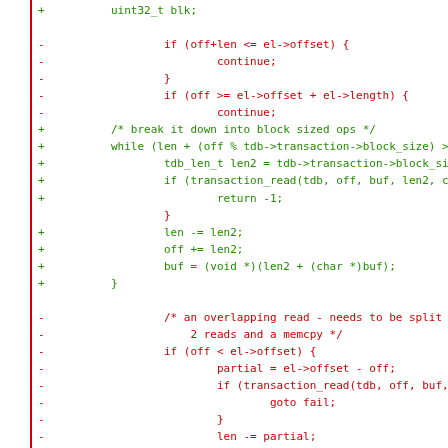[Figure (other): Code diff showing added (green) and removed (red) lines of C code related to transaction read operations and block-sized ops]